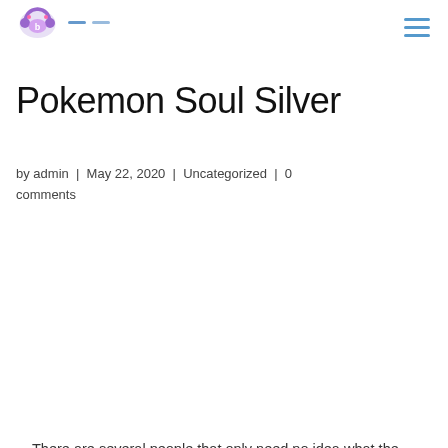[Logo: headphones icon] - - [hamburger menu]
Pokemon Soul Silver
by admin | May 22, 2020 | Uncategorized | 0 comments
There are several people that only need no idea what the enjoy stations a couple of ROMS really are. They often believe that all they currently have are the same element. There are really two varieties of PlayRoms readily available. You are normally the acquire PlayRoms as well as the other will be using on your pc internet browser in addition.